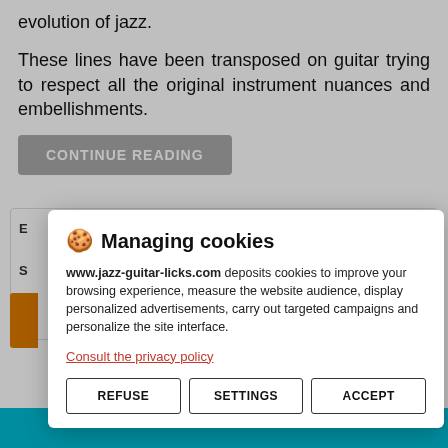evolution of jazz.
These lines have been transposed on guitar trying to respect all the original instrument nuances and embellishments.
CONTINUE READING
[Figure (screenshot): Cookie consent modal dialog with title 'Managing cookies', description text about www.jazz-guitar-licks.com depositing cookies, a privacy policy link, and three buttons: REFUSE, SETTINGS, ACCEPT]
Managing cookies
www.jazz-guitar-licks.com deposits cookies to improve your browsing experience, measure the website audience, display personalized advertisements, carry out targeted campaigns and personalize the site interface.
Consult the privacy policy
REFUSE
SETTINGS
ACCEPT